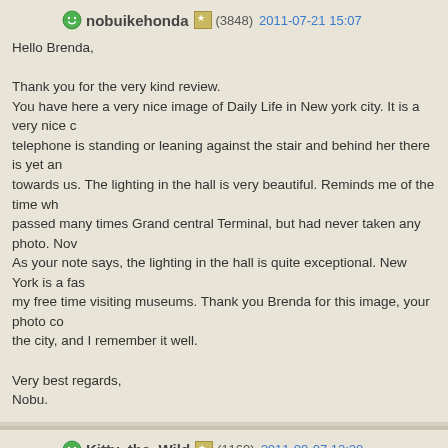nobuikehonda (3848) 2011-07-21 15:07
Hello Brenda,

Thank you for the very kind review.
You have here a very nice image of Daily Life in New york city. It is a very nice c... telephone is standing or leaning against the stair and behind her there is yet an... towards us. The lighting in the hall is very beautiful. Reminds me of the time wh... passed many times Grand central Terminal, but had never taken any photo. Nov... As your note says, the lighting in the hall is quite exceptional. New York is a fas... my free time visiting museums. Thank you Brenda for this image, your photo co... the city, and I remember it well.

Very best regards,
Nobu.
Kitty_the_Wild (1169) 2011-09-07 12:20
Nice assemblage of lines and people, the stairs drive the eye on the two guys i... each one with its interests , together and separate.
Regards,
Elena
josepmarin (59385) 2011-09-20 1:18